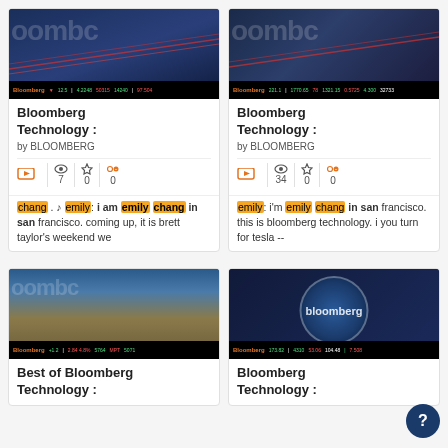[Figure (screenshot): Bloomberg Technology thumbnail with bridge/night scene and ticker bar at bottom]
Bloomberg Technology :
by BLOOMBERG
7 views, 0 stars, 0 quotes
chang . ♪ emily: i am emily chang in san francisco. coming up, it is brett taylor's weekend we
[Figure (screenshot): Bloomberg Technology thumbnail with bridge/night scene and ticker bar at bottom]
Bloomberg Technology :
by BLOOMBERG
34 views, 0 stars, 0 quotes
emily: i'm emily chang in san francisco. this is bloomberg technology. i you turn for tesla --
[Figure (screenshot): Best of Bloomberg Technology thumbnail with mountain/bridge landscape]
Best of Bloomberg Technology :
[Figure (screenshot): Bloomberg Technology thumbnail with circular Bloomberg logo overlay]
Bloomberg Technology :